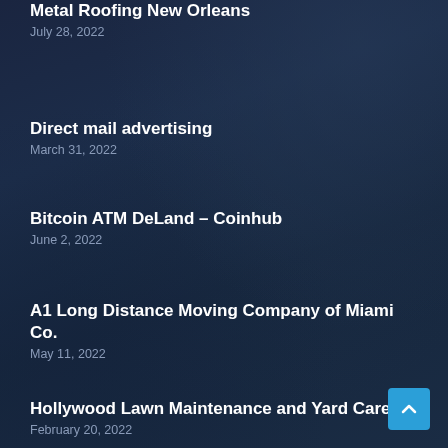Metal Roofing New Orleans
July 28, 2022
Direct mail advertising
March 31, 2022
Bitcoin ATM DeLand – Coinhub
June 2, 2022
A1 Long Distance Moving Company of Miami Co.
May 11, 2022
Hollywood Lawn Maintenance and Yard Care
February 20, 2022